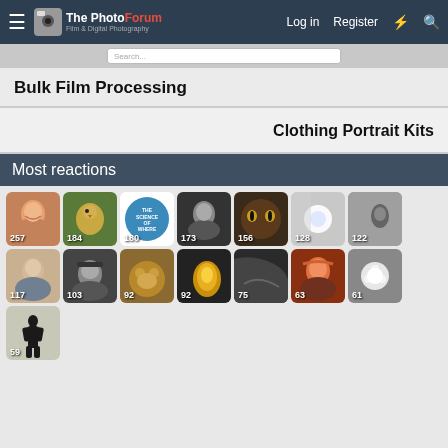The PhotoForum — Film & Digital Photography | Log in | Register
Bulk Film Processing
Clothing Portrait Kits
Most reactions
[Figure (photo): Grid of 15 photo thumbnails with reaction counts: 257, 184, 180, 173, 156, 128, 122, 117, 103, 92, 92, 75, 63, 61, 59]